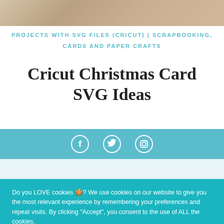[Figure (photo): Sandy/earthy textured photo strip at the top of the page]
PROJECTS WITH SVG FILES (CRICUT) | SCRAPBOOKING, CARDS AND PAPER CRAFTS
Cricut Christmas Card SVG Ideas
[Figure (infographic): Teal social media bar with Facebook, Twitter, and Instagram icons]
Do you LOVE cookies 🍪? We use cookies on our website to give you the most relevant experience by remembering your preferences and repeat visits. By clicking "Accept", you consent to the use of ALL the cookies.
Cookie settings | ACCEPT